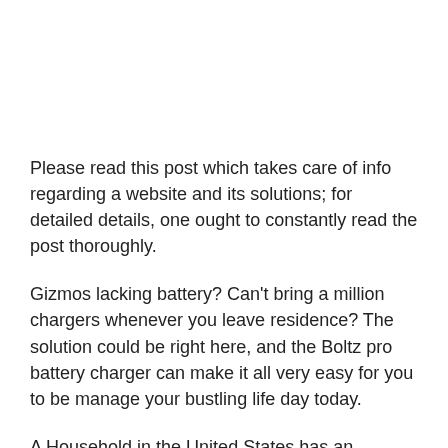Please read this post which takes care of info regarding a website and its solutions; for detailed details, one ought to constantly read the post thoroughly.
Gizmos lacking battery? Can’t bring a million chargers whenever you leave residence? The solution could be right here, and the Boltz pro battery charger can make it all very easy for you to be manage your bustling life day today.
A Household in the United States has an average